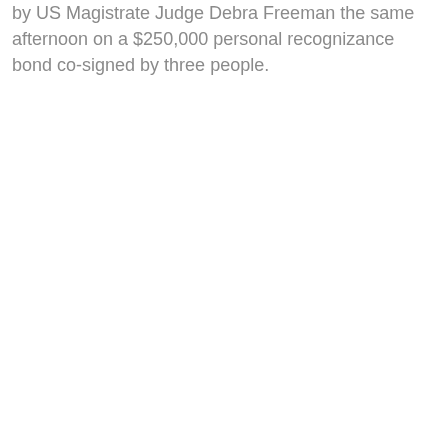by US Magistrate Judge Debra Freeman the same afternoon on a $250,000 personal recognizance bond co-signed by three people.